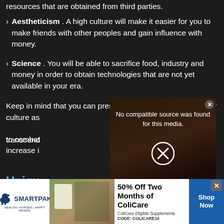resources that are obtained from third parties.
› Aestheticism . A high culture will make it easier for you to make friends with other peoples and gain influence with money.
› Science . You will be able to sacrifice food, industry and money in order to obtain technologies that are not yet available in your era.
Keep in mind that you can preserve the achievements of your culture as [text continues behind overlay] transcend [obscured] to combat [obscured] increase i[obscured]
Uniqu[ue building] cities [partially visible]
Each cultu[re — partially visible]
[Figure (screenshot): Video player popup overlay showing 'No compatible source was found for this media.' with a circle-X icon. Below is a dark banner reading 'Elder Scrolls Online Beginners Guide'. A small close button (✕) appears in the top-right corner of the popup.]
[Figure (infographic): SmartPak advertisement banner. Shows SmartPak logo with horse icon on left, product image in center, text '50% Off Two Months of ColiCare / ColiCare Eligible Supplements / CODE: COLICARE10' and a blue 'Shop Now' button on the right. An X close button appears in the top right.]